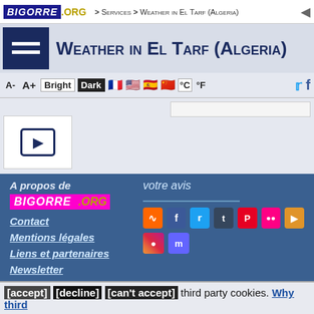BIGORRE .ORG > Services > Weather in El Tarf (Algeria)
Weather in El Tarf (Algeria)
A-  A+  Bright  Dark  °C  °F
[Figure (screenshot): Video player thumbnail with play button]
A propos de BIGORRE .ORG
votre avis
Contact
Mentions légales
Liens et partenaires
Newsletter
[accept] [decline] [can't accept] third party cookies. Why third party cookies allow to be free More info
©Association bigorre.org et Stéphane Boularand ~ on the web since 1998 ~